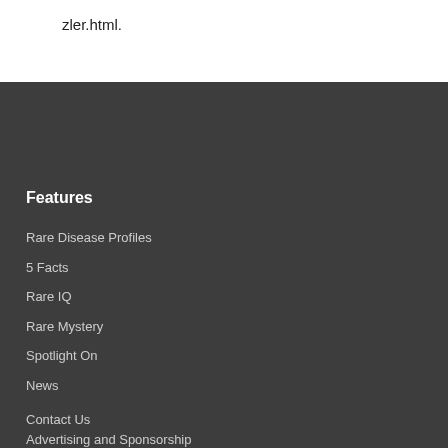zler.html.
Features
Rare Disease Profiles
5 Facts
Rare IQ
Rare Mystery
Spotlight On
News
Contact Us
Advertising and Sponsorship
About The Rare Medical Network